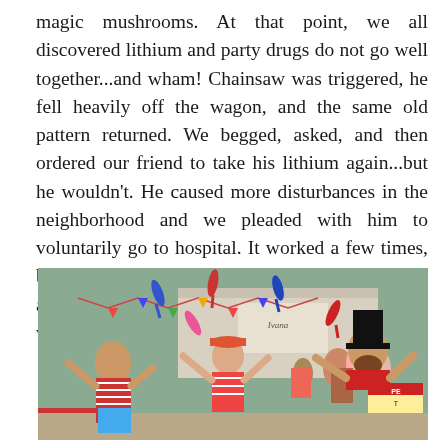magic mushrooms. At that point, we all discovered lithium and party drugs do not go well together...and wham! Chainsaw was triggered, he fell heavily off the wagon, and the same old pattern returned. We begged, asked, and then ordered our friend to take his lithium again...but he wouldn't. He caused more disturbances in the neighborhood and we pleaded with him to voluntarily go to hospital. It worked a few times, but mostly it was the police who took him there after receiving repeated complaints about his weird behavior.
[Figure (photo): Outdoor photograph of people juggling colorful clubs at what appears to be a street fair or festival. On the right is a bearded man wearing a black top hat and red shirt. In the center-left are two other jugglers, one in a striped shirt and cap. Colorful juggling clubs are visible in the air. In the background are a white truck, festive banners, and a crowd of spectators. A Pepsi stand is partially visible at lower right.]